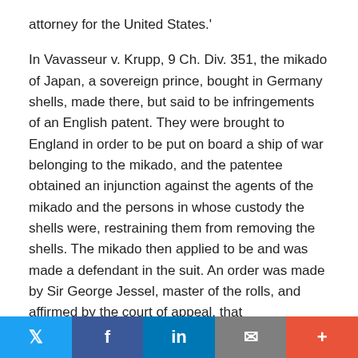attorney for the United States.'
In Vavasseur v. Krupp, 9 Ch. Div. 351, the mikado of Japan, a sovereign prince, bought in Germany shells, made there, but said to be infringements of an English patent. They were brought to England in order to be put on board a ship of war belonging to the mikado, and the patentee obtained an injunction against the agents of the mikado and the persons in whose custody the shells were, restraining them from removing the shells. The mikado then applied to be and was made a defendant in the suit. An order was made by Sir George Jessel, master of the rolls, and affirmed by the court of appeal, that notwithstanding the injunction the mikado should be at liberty to remove the shells. Lord Justice JAMES said: 'I am of opinion that this attempt on the part of the plaintiff to interfere with the right of a foreign sovereign to deal with his public property is one of the boldest I have
Twitter | Facebook | LinkedIn | Email | More